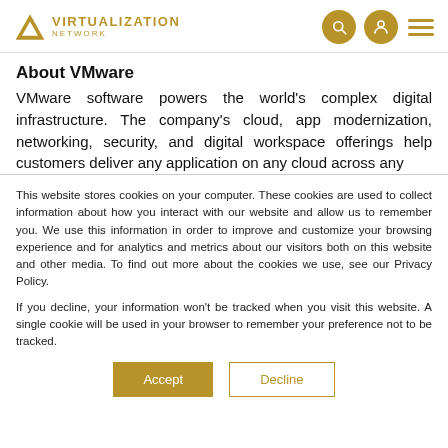VIRTUALIZATION NETWORK
About VMware
VMware software powers the world's complex digital infrastructure. The company's cloud, app modernization, networking, security, and digital workspace offerings help customers deliver any application on any cloud across any
This website stores cookies on your computer. These cookies are used to collect information about how you interact with our website and allow us to remember you. We use this information in order to improve and customize your browsing experience and for analytics and metrics about our visitors both on this website and other media. To find out more about the cookies we use, see our Privacy Policy.
If you decline, your information won't be tracked when you visit this website. A single cookie will be used in your browser to remember your preference not to be tracked.
Accept | Decline